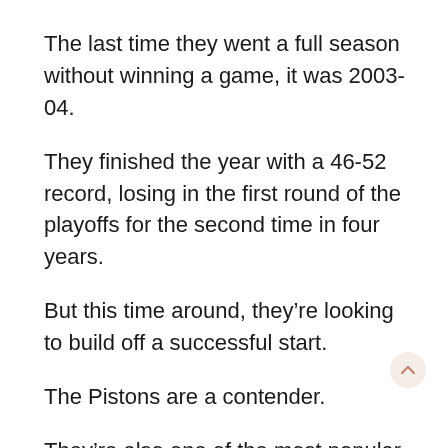The last time they went a full season without winning a game, it was 2003-04.
They finished the year with a 46-52 record, losing in the first round of the playoffs for the second time in four years.
But this time around, they’re looking to build off a successful start.
The Pistons are a contender.
They’re also one of the most popular teams in the league.
The players are enjoying a breakout year.